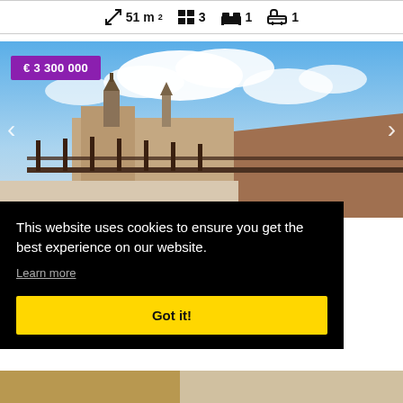51 m²  3  1  1
[Figure (photo): Rooftop terrace view over a historic city skyline with cathedral and church spires, blue sky with clouds, iron railing in foreground. Price label shows € 3 300 000.]
This website uses cookies to ensure you get the best experience on our website. Learn more
Got it!
[Figure (photo): Partial view of another property listing at bottom of page.]